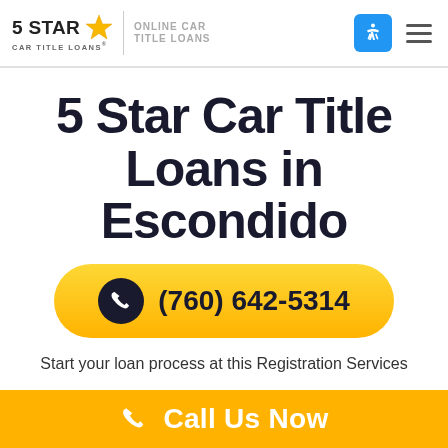5 STAR CAR TITLE LOANS® | ONLINE CAR TITLE LOANS
5 Star Car Title Loans in Escondido
(760) 642-5314
Start your loan process at this Registration Services
Call Us Now